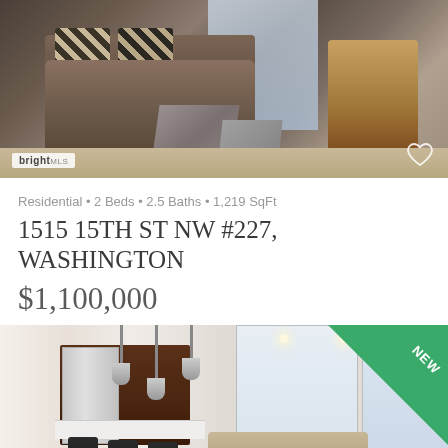[Figure (photo): Interior photo of a modern living room with brown/gray upholstered sofa, zebra-print pillows, geometric concrete coffee table, wooden chair, and hardwood floors. bright MLS logo in bottom left, heart icon in bottom right.]
Residential • 2 Beds • 2.5 Baths • 1,219 SqFt
1515 15TH ST NW #227, WASHINGTON
$1,100,000
[Figure (photo): Interior photo of a modern open-plan kitchen and living room. Dark wood cabinets, stainless steel appliances, white countertop with black bar stools, pendant lights, large grid windows with city view. Beige sectional sofa in living area. NEW badge in top-right corner.]